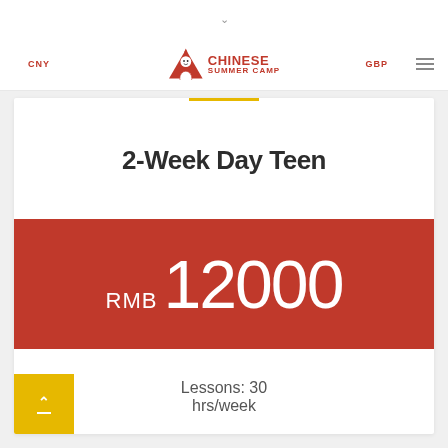Chinese Summer Camp — CNY | GBP navigation header
[Figure (logo): Chinese Summer Camp logo with red tent icon and red text 'CHINESE SUMMER CAMP']
2-Week Day Teen
RMB 12000
Lessons: 30 hrs/week
No field trips